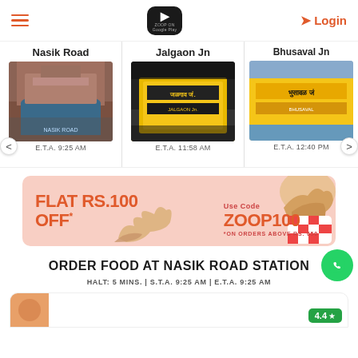≡  [Google Play Logo]  ➤ Login
Nasik Road
E.T.A. 9:25 AM
Jalgaon Jn
E.T.A. 11:58 AM
Bhusaval Jn
E.T.A. 12:40 PM
[Figure (infographic): Promotional banner: FLAT RS.100 OFF* Use Code ZOOP100 *ON ORDERS ABOVE RS. 650, with snack food images on pink background]
ORDER FOOD AT NASIK ROAD STATION
HALT: 5 MINS. | S.T.A. 9:25 AM | E.T.A. 9:25 AM